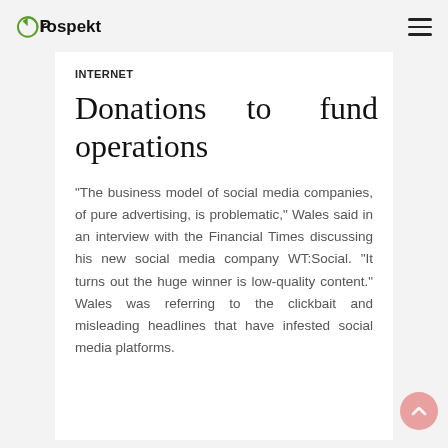Prospekt
INTERNET
Donations to fund operations
“The business model of social media companies, of pure advertising, is problematic,” Wales said in an interview with the Financial Times discussing his new social media company WT:Social. “It turns out the huge winner is low-quality content.” Wales was referring to the clickbait and misleading headlines that have infested social media platforms.